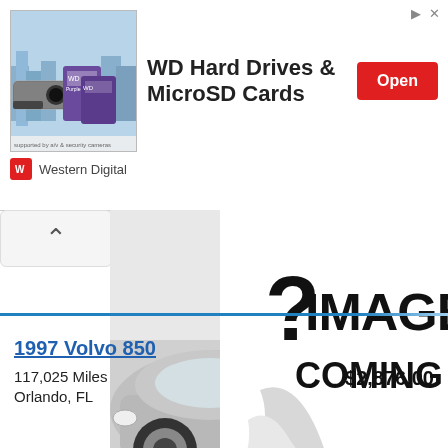[Figure (screenshot): Advertisement banner for WD Hard Drives & MicroSD Cards by Western Digital with Open button]
[Figure (photo): Car listing image placeholder showing a silver car on the left and a curled page revealing '?IMAGE COMING SOON' text on the right with an up-arrow navigation button]
1997 Volvo 850
117,025 Miles
Orlando, FL
$2,876.00